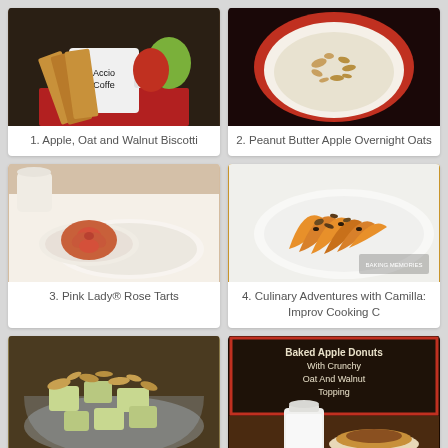[Figure (photo): Apple, Oat and Walnut Biscotti — biscotti in a mug labeled Accio Coffee with apples in background]
1. Apple, Oat and Walnut Biscotti
[Figure (photo): Peanut Butter Apple Overnight Oats — creamy oats in a red bowl topped with granola]
2. Peanut Butter Apple Overnight Oats
[Figure (photo): Pink Lady Rose Tarts — rose-shaped apple tarts on a floral plate]
3. Pink Lady® Rose Tarts
[Figure (photo): Culinary Adventures with Camilla: Improv Cooking C — baked apple slices with nuts on white plate]
4. Culinary Adventures with Camilla: Improv Cooking C
[Figure (photo): Chopped apple and granola in a glass bowl]
[Figure (photo): Baked Apple Donuts With Crunchy Oat And Walnut Topping — chalkboard sign with milk jar]